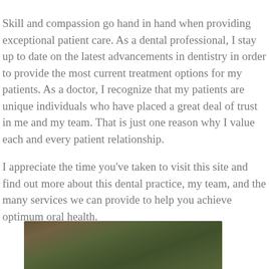Skill and compassion go hand in hand when providing exceptional patient care. As a dental professional, I stay up to date on the latest advancements in dentistry in order to provide the most current treatment options for my patients. As a doctor, I recognize that my patients are unique individuals who have placed a great deal of trust in me and my team. That is just one reason why I value each and every patient relationship.
I appreciate the time you've taken to visit this site and find out more about this dental practice, my team, and the many services we can provide to help you achieve optimum oral health.
[Figure (photo): Partially visible photograph of a person among green foliage, cropped at bottom of page]